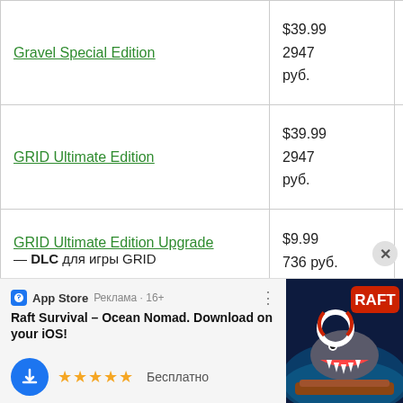| Name | Price USD | Price (partial) |
| --- | --- | --- |
| Gravel Special Edition | $39.99
2947 руб. | $5
4... |
| GRID Ultimate Edition | $39.99
2947 руб. | $9
73... |
| GRID Ultimate Edition Upgrade — DLC для игры GRID | $9.99
736 руб. | $4
36... |
| Halo 3: ODST — DLC для игры | $4.99 | $5... |
[Figure (screenshot): App Store advertisement banner for 'Raft Survival - Ocean Nomad' iOS app with 5-star rating and 'Бесплатно' (Free) label]